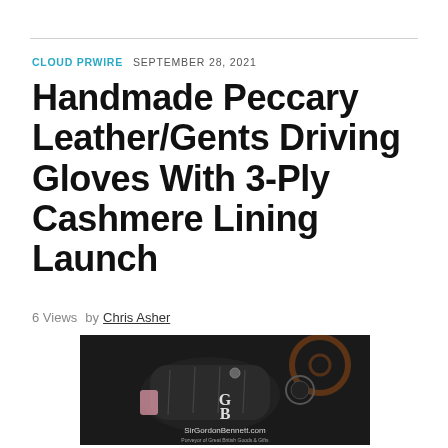CLOUD PRWIRE   SEPTEMBER 28, 2021
Handmade Peccary Leather/Gents Driving Gloves With 3-Ply Cashmere Lining Launch
6 Views   by Chris Asher
[Figure (photo): Black peccary leather driving gloves on a steering wheel, with SirGordonBennett.com logo overlay — GB monogram and text 'Purveyor of Great British Goods & Gifts']